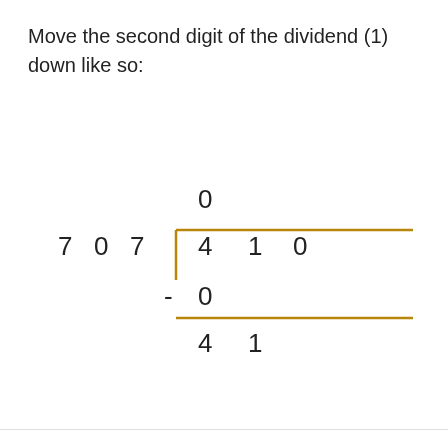Move the second digit of the dividend (1) down like so:
[Figure (math-figure): Long division layout showing 707 dividing into 410, with quotient 0 above, subtraction of 0, horizontal line, and remainder 41 shown below.]